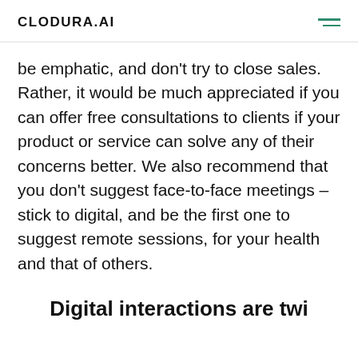CLODURA.AI
be emphatic, and don't try to close sales. Rather, it would be much appreciated if you can offer free consultations to clients if your product or service can solve any of their concerns better. We also recommend that you don't suggest face-to-face meetings – stick to digital, and be the first one to suggest remote sessions, for your health and that of others.
Digital interactions are twi